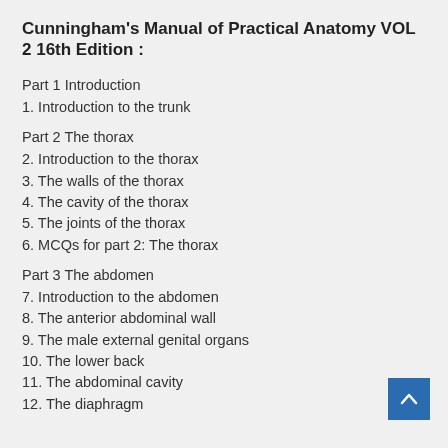Cunningham's Manual of Practical Anatomy VOL 2 16th Edition :
Part 1 Introduction
1. Introduction to the trunk
Part 2 The thorax
2. Introduction to the thorax
3. The walls of the thorax
4. The cavity of the thorax
5. The joints of the thorax
6. MCQs for part 2: The thorax
Part 3 The abdomen
7. Introduction to the abdomen
8. The anterior abdominal wall
9. The male external genital organs
10. The lower back
11. The abdominal cavity
12. The diaphragm